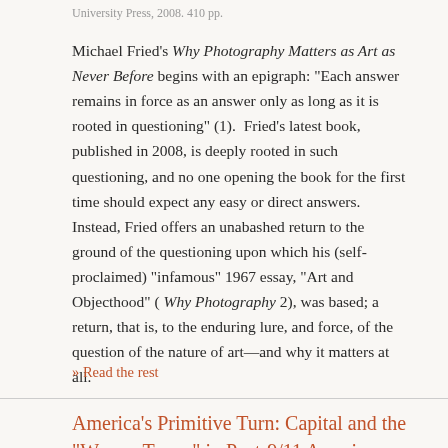University Press, 2008. 410 pp.
Michael Fried's Why Photography Matters as Art as Never Before begins with an epigraph: “Each answer remains in force as an answer only as long as it is rooted in questioning” (1). Fried’s latest book, published in 2008, is deeply rooted in such questioning, and no one opening the book for the first time should expect any easy or direct answers. Instead, Fried offers an unabashed return to the ground of the questioning upon which his (self-proclaimed) “infamous” 1967 essay, “Art and Objecthood” ( Why Photography 2), was based; a return, that is, to the enduring lure, and force, of the question of the nature of art—and why it matters at all.
» Read the rest
America’s Primitive Turn: Capital and the “War on Terror” in Post-9/11 America